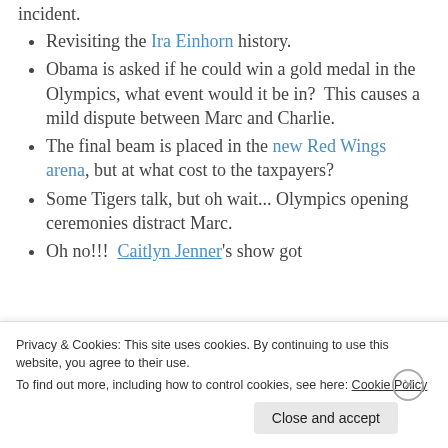incident.
Revisiting the Ira Einhorn history.
Obama is asked if he could win a gold medal in the Olympics, what event would it be in?  This causes a mild dispute between Marc and Charlie.
The final beam is placed in the new Red Wings arena, but at what cost to the taxpayers?
Some Tigers talk, but oh wait... Olympics opening ceremonies distract Marc.
Oh no!!!  Caitlyn Jenner's show got
Privacy & Cookies: This site uses cookies. By continuing to use this website, you agree to their use.
To find out more, including how to control cookies, see here: Cookie Policy
Close and accept